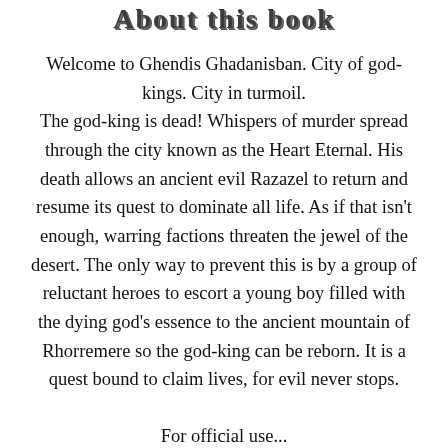About this book
Welcome to Ghendis Ghadanisban. City of god-kings. City in turmoil. The god-king is dead! Whispers of murder spread through the city known as the Heart Eternal. His death allows an ancient evil Razazel to return and resume its quest to dominate all life. As if that isn't enough, warring factions threaten the jewel of the desert. The only way to prevent this is by a group of reluctant heroes to escort a young boy filled with the dying god's essence to the ancient mountain of Rhorremere so the god-king can be reborn. It is a quest bound to claim lives, for evil never stops.
For official use...